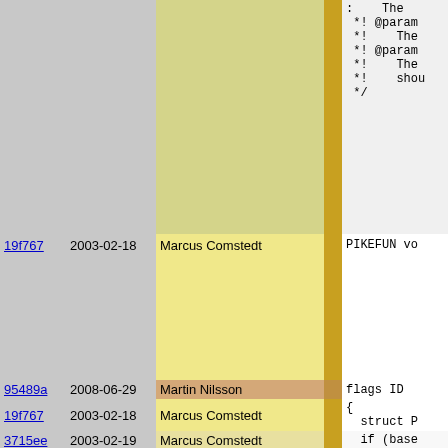| hash | date | author | sep | code |
| --- | --- | --- | --- | --- |
|  |  |  |  | :    The
 *! @param
 *!    The
 *! @param
 *!    The
 *!    shou
 */ |
| 19f767 | 2003-02-18 | Marcus Comstedt |  | PIKEFUN vo |
| 95489a | 2008-06-29 | Martin Nilsson |  | flags ID |
| 19f767 | 2003-02-18 | Marcus Comstedt |  | { |
| 3715ee | 2003-02-19 | Marcus Comstedt |  | if (base
    Pike_e
  if (tmir
    Pike_e
  if (skew
    Pike_e
  if (damp
    Pike_e
  if (init
    Pike_e
  if (dig:
    Pike_e |
| 19f767 | 2003-02-18 | Marcus Comstedt |  | bs->base
  bs->ske |